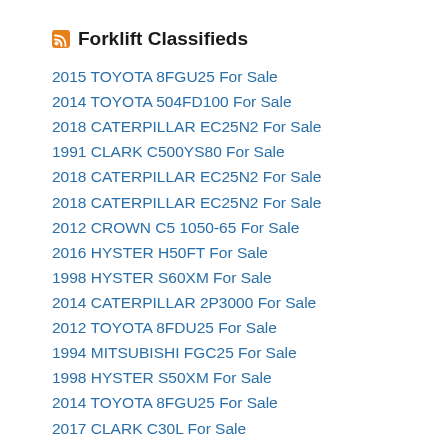Forklift Classifieds
2015 TOYOTA 8FGU25 For Sale
2014 TOYOTA 504FD100 For Sale
2018 CATERPILLAR EC25N2 For Sale
1991 CLARK C500YS80 For Sale
2018 CATERPILLAR EC25N2 For Sale
2018 CATERPILLAR EC25N2 For Sale
2012 CROWN C5 1050-65 For Sale
2016 HYSTER H50FT For Sale
1998 HYSTER S60XM For Sale
2014 CATERPILLAR 2P3000 For Sale
2012 TOYOTA 8FDU25 For Sale
1994 MITSUBISHI FGC25 For Sale
1998 HYSTER S50XM For Sale
2014 TOYOTA 8FGU25 For Sale
2017 CLARK C30L For Sale
2017 CATERPILLAR 2ET3500 For Sale
2004 TOYOTA 7FDAU50 For Sale
2019 CATERPILLAR GC70K For Sale